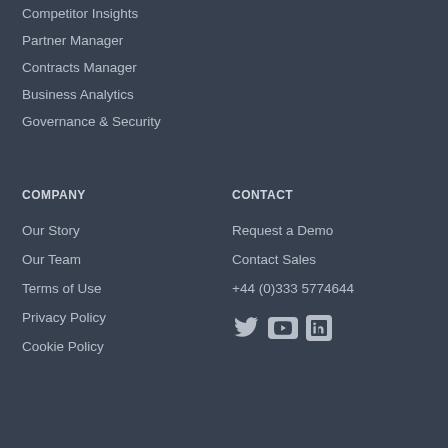Competitor Insights
Partner Manager
Contracts Manager
Business Analytics
Governance & Security
COMPANY
Our Story
Our Team
Terms of Use
Privacy Policy
Cookie Policy
CONTACT
Request a Demo
Contact Sales
+44 (0)333 5774644
[Figure (other): Social media icons: Twitter, YouTube, LinkedIn]